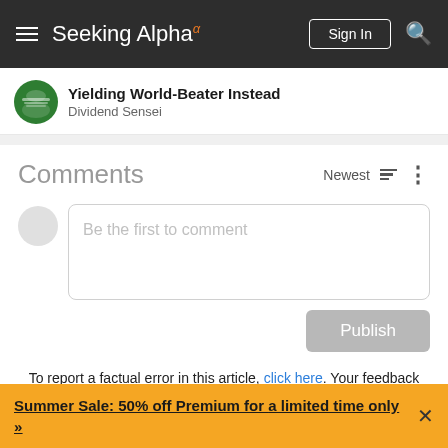Seeking Alpha
Yielding World-Beater Instead
Dividend Sensei
Comments
Be the first to comment
To report a factual error in this article, click here. Your feedback matters to us!
Summer Sale: 50% off Premium for a limited time only »